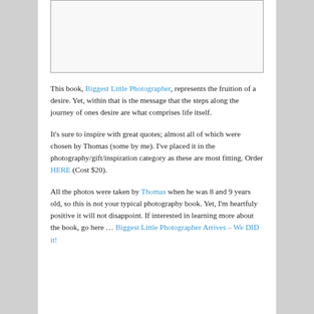[Figure (other): Blank/white image placeholder with thin border]
This book, Biggest Little Photographer, represents the fruition of a desire. Yet, within that is the message that the steps along the journey of ones desire are what comprises life itself.
It's sure to inspire with great quotes; almost all of which were chosen by Thomas (some by me). I've placed it in the photography/gift/inspiration category as these are most fitting. Order HERE (Cost $20).
All the photos were taken by Thomas when he was 8 and 9 years old, so this is not your typical photography book. Yet, I'm heartfuly positive it will not disappoint. If interested in learning more about the book, go here … Biggest Little Photographer Arrives – We DID it!